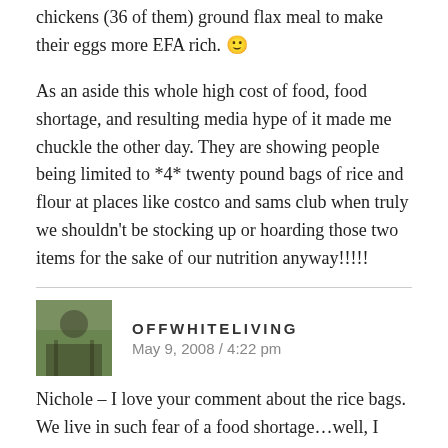chickens (36 of them) ground flax meal to make their eggs more EFA rich. 🙂
As an aside this whole high cost of food, food shortage, and resulting media hype of it made me chuckle the other day. They are showing people being limited to *4* twenty pound bags of rice and flour at places like costco and sams club when truly we shouldn't be stocking up or hoarding those two items for the sake of our nutrition anyway!!!!!
OFFWHITELIVING
May 9, 2008 / 4:22 pm
Nichole – I love your comment about the rice bags. We live in such fear of a food shortage…well, I don't think anything like that is coming anytime soon, so I agree with you. Do we really need THAT much (80 lbs) of rice?